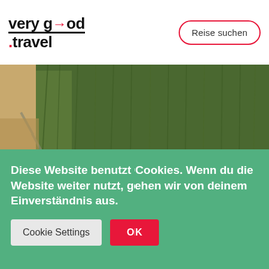very good .travel — Reise suchen
[Figure (photo): Partial view of grassy/natural landscape photo (top portion cut off)]
Reiseland Deutschland – Norddeutschland
[Figure (photo): Photo of the Brandenburg Gate Quadriga sculpture in Berlin — bronze horses and chariot statue atop the gate, light blue sky background]
Diese Website benutzt Cookies. Wenn du die Website weiter nutzt, gehen wir von deinem Einverständnis aus.
Cookie Settings  OK